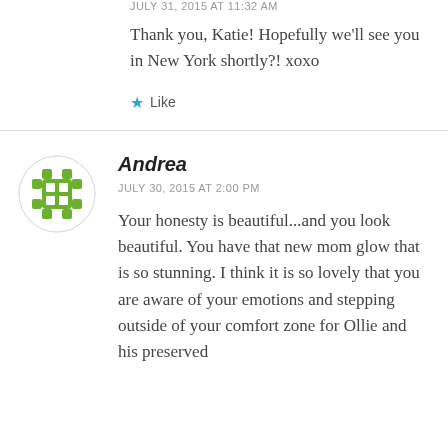JULY 31, 2015 AT 11:32 AM
Thank you, Katie! Hopefully we'll see you in New York shortly?! xoxo
Like
Andrea
JULY 30, 2015 AT 2:00 PM
Your honesty is beautiful...and you look beautiful. You have that new mom glow that is so stunning. I think it is so lovely that you are aware of your emotions and stepping outside of your comfort zone for Ollie and his preserved